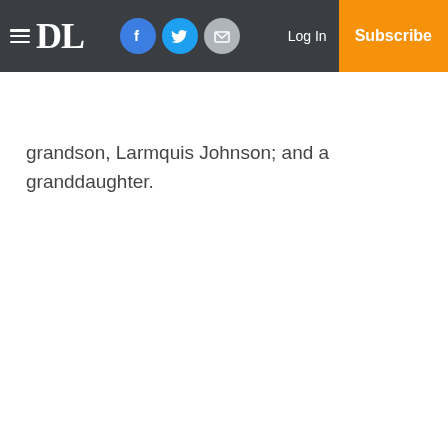DL | Log In | Subscribe
grandson, Larmquis Johnson; and a granddaughter.